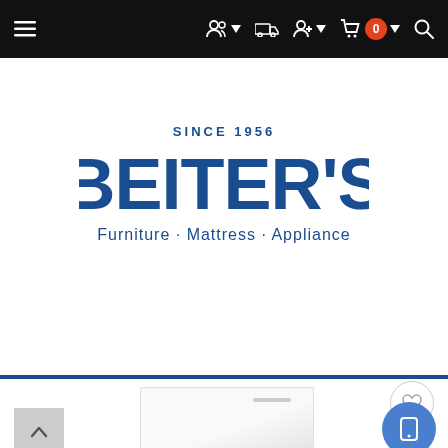[Figure (screenshot): Beiter's furniture store website navigation bar with hamburger menu, people icon, delivery truck icon, user add icon, cart with 0 badge, and search icon on black background]
[Figure (logo): Beiter's logo — SINCE 1956 above large blue BEITER'S text with Furniture · Mattress · Appliance below]
[Figure (screenshot): Dark blue Shop By Category button with hamburger lines icon]
[Figure (photo): White/light gray chest freezer appliance product image, partially visible, with a small handle detail near top right]